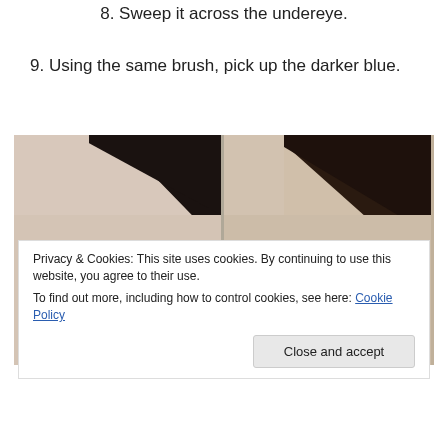8. Sweep it across the undereye.
9. Using the same brush, pick up the darker blue.
[Figure (photo): Two side-by-side close-up photos of a person's eye area showing eyebrow makeup application steps — left photo shows one stage, right photo shows the next stage with slightly different eyebrow color/appearance.]
Privacy & Cookies: This site uses cookies. By continuing to use this website, you agree to their use.
To find out more, including how to control cookies, see here: Cookie Policy
Close and accept